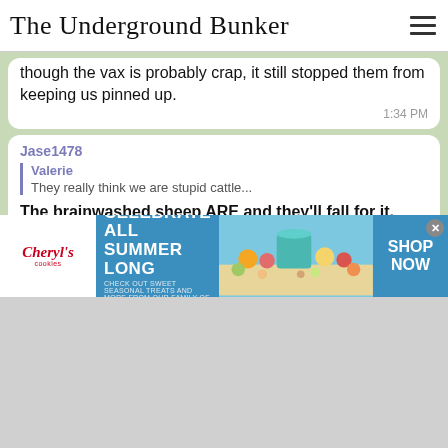The Underground Bunker
though the vax is probably crap, it still stopped them from keeping us pinned up. 1:34 PM
Jase1478 — quoting Valerie: They really think we are stupid cattle... — The brainwashed sheep ARE and they'll fall for it, unfortunately 1:43 PM
Texan First — They lie to us. Today they said the booster protects against other proteins in the virus besides the spike protein.
[Figure (screenshot): Advertisement banner: Cheryl's Cookies — CELEBRATE ALL SUMMER LONG — CHECK OUT SWEET SEASONAL TREATS AND MORE FROM OUR FAMILY OF BRANDS. SHOP NOW]